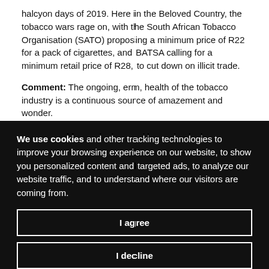halcyon days of 2019. Here in the Beloved Country, the tobacco wars rage on, with the South African Tobacco Organisation (SATO) proposing a minimum price of R22 for a pack of cigarettes, and BATSA calling for a minimum retail price of R28, to cut down on illicit trade.
Comment: The ongoing, erm, health of the tobacco industry is a continuous source of amazement and wonder.
IOL 29/07/21    Comments 0
Mondelez Rich and smooth
Another business snapping back from COVID is Mondelez, owner of
We use cookies and other tracking technologies to improve your browsing experience on our website, to show you personalized content and targeted ads, to analyze our website traffic, and to understand where our visitors are coming from.
I agree
I decline